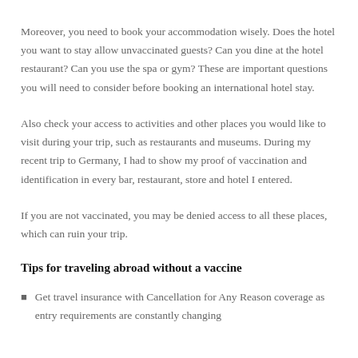Moreover, you need to book your accommodation wisely. Does the hotel you want to stay allow unvaccinated guests? Can you dine at the hotel restaurant? Can you use the spa or gym? These are important questions you will need to consider before booking an international hotel stay.
Also check your access to activities and other places you would like to visit during your trip, such as restaurants and museums. During my recent trip to Germany, I had to show my proof of vaccination and identification in every bar, restaurant, store and hotel I entered.
If you are not vaccinated, you may be denied access to all these places, which can ruin your trip.
Tips for traveling abroad without a vaccine
Get travel insurance with Cancellation for Any Reason coverage as entry requirements are constantly changing